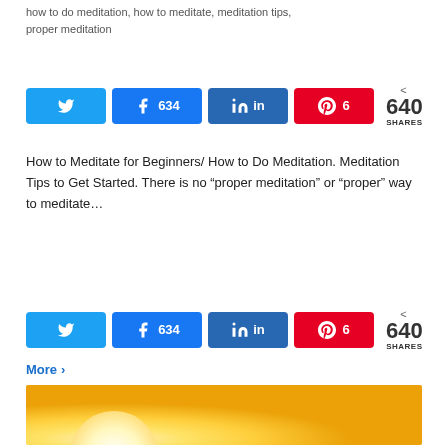how to do meditation, how to meditate, meditation tips, proper meditation
[Figure (other): Social share buttons row 1: Twitter, Facebook (634), LinkedIn, Pinterest (6), share count 640 SHARES]
How to Meditate for Beginners/ How to Do Meditation. Meditation Tips to Get Started. There is no “proper meditation” or “proper” way to meditate…
[Figure (other): Social share buttons row 2: Twitter, Facebook (634), LinkedIn, Pinterest (6), share count 640 SHARES]
More ›
[Figure (photo): Sunrise image with golden yellow gradient and bright white sun circle on the left side]